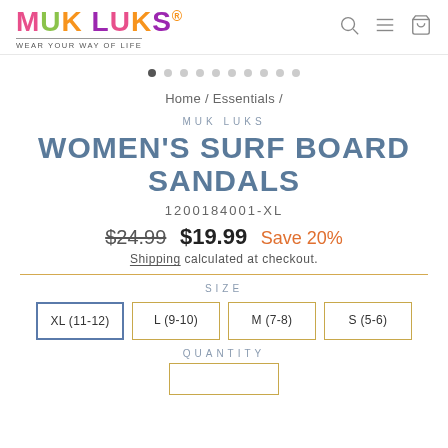[Figure (logo): Muk Luks colorful logo with tagline WEAR YOUR WAY OF LIFE]
Home / Essentials /
MUK LUKS
WOMEN'S SURF BOARD SANDALS
1200184001-XL
$24.99  $19.99  Save 20%
Shipping calculated at checkout.
SIZE
XL (11-12)  L (9-10)  M (7-8)  S (5-6)
QUANTITY